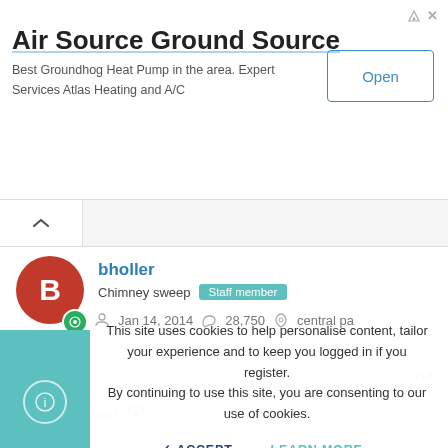[Figure (screenshot): Advertisement banner for Air Source Ground Source heat pump service with Open button]
Air Source Ground Source
Best Groundhog Heat Pump in the area. Expert Services Atlas Heating and A/C
bholler
Chimney sweep   Staff member
Jan 14, 2014   28,750   central pa
Oct 24, 2021  #14
Zach Hoyt said:
This site uses cookies to help personalise content, tailor your experience and to keep you logged in if you register. By continuing to use this site, you are consenting to our use of cookies.